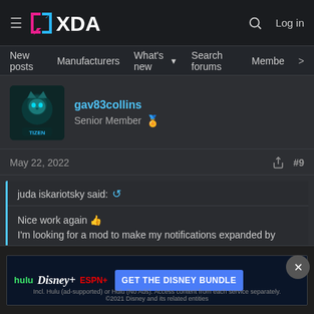XDA Forums header with hamburger menu, XDA logo, search icon, Log in
New posts  Manufacturers  What's new  Search forums  Members >
gav83collins
Senior Member
May 22, 2022  #9
juda iskariotsky said:
Nice work again 👍
I'm looking for a mod to make my notifications expanded by default. I had that on S8+ but it was long time ago and it was built in a ROM. Lemme know if you come across any findings.
I was 'aw... framework
[Figure (screenshot): Disney Bundle advertisement banner: hulu, Disney+, ESPN+ logos with 'GET THE DISNEY BUNDLE' CTA button]